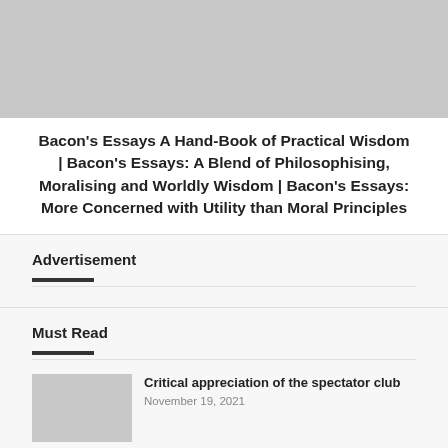[Figure (photo): Gray placeholder image at top of page]
Bacon's Essays A Hand-Book of Practical Wisdom | Bacon's Essays: A Blend of Philosophising, Moralising and Worldly Wisdom | Bacon's Essays: More Concerned with Utility than Moral Principles
Advertisement
Must Read
Critical appreciation of the spectator club
November 19, 2021